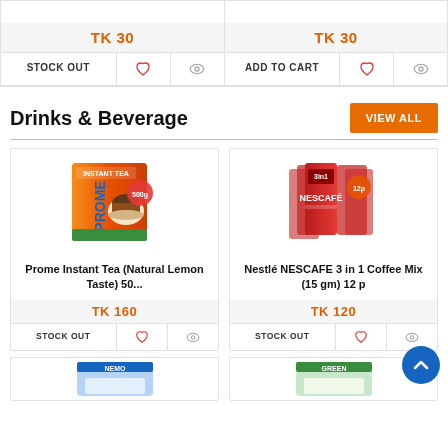TK 30
STOCK OUT
TK 30
ADD TO CART
Drinks & Beverage
VIEW ALL
[Figure (photo): Prome Instant Tea product image - orange/red package with tea cup]
Prome Instant Tea (Natural Lemon Taste) 50...
TK 160
STOCK OUT
[Figure (photo): Nestlé NESCAFE 3 in 1 Coffee Mix product image - multiple red packets bundled together]
Nestlé NESCAFE 3 in 1 Coffee Mix (15 gm) 12 p
TK 120
STOCK OUT
[Figure (photo): Partial bottom product card - blue/white package]
[Figure (photo): Partial bottom product card - green/yellow package]